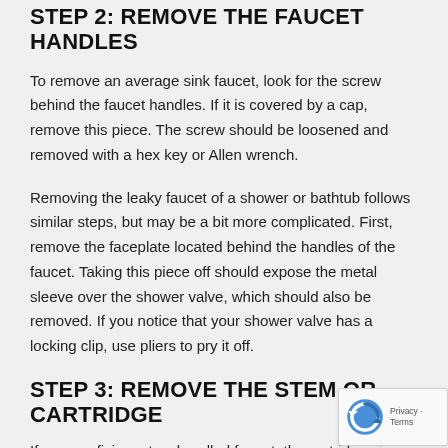STEP 2: REMOVE THE FAUCET HANDLES
To remove an average sink faucet, look for the screw behind the faucet handles. If it is covered by a cap, remove this piece. The screw should be loosened and removed with a hex key or Allen wrench.
Removing the leaky faucet of a shower or bathtub follows similar steps, but may be a bit more complicated. First, remove the faceplate located behind the handles of the faucet. Taking this piece off should expose the metal sleeve over the shower valve, which should also be removed. If you notice that your shower valve has a locking clip, use pliers to pry it off.
STEP 3: REMOVE THE STEM OR CARTRIDGE
If you are fixing a two-handled faucet, the cartridge piece needs to be carefully removed and set to the side. Twist the packing nut with a wrench to loosen its grip on the cartridge. Once it is loose enough, gently lift and remove the entire cartridge.